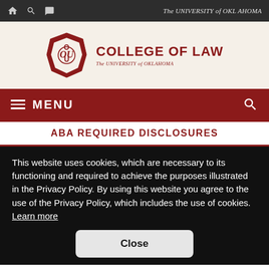The UNIVERSITY of OKLAHOMA
[Figure (logo): University of Oklahoma College of Law logo with OU emblem and text 'COLLEGE OF LAW - The University of Oklahoma']
MENU
ABA REQUIRED DISCLOSURES
This website uses cookies, which are necessary to its functioning and required to achieve the purposes illustrated in the Privacy Policy. By using this website you agree to the use of the Privacy Policy, which includes the use of cookies.  Learn more
Close